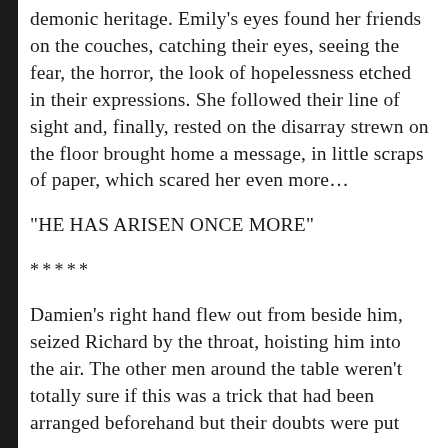demonic heritage. Emily’s eyes found her friends on the couches, catching their eyes, seeing the fear, the horror, the look of hopelessness etched in their expressions. She followed their line of sight and, finally, rested on the disarray strewn on the floor brought home a message, in little scraps of paper, which scared her even more...
“HE HAS ARISEN ONCE MORE”
*****
Damien’s right hand flew out from beside him, seized Richard by the throat, hoisting him into the air. The other men around the table weren’t totally sure if this was a trick that had been arranged beforehand but their doubts were put